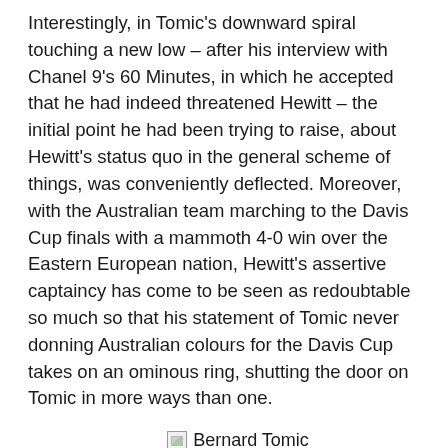Interestingly, in Tomic's downward spiral touching a new low – after his interview with Chanel 9's 60 Minutes, in which he accepted that he had indeed threatened Hewitt – the initial point he had been trying to raise, about Hewitt's status quo in the general scheme of things, was conveniently deflected. Moreover, with the Australian team marching to the Davis Cup finals with a mammoth 4-0 win over the Eastern European nation, Hewitt's assertive captaincy has come to be seen as redoubtable so much so that his statement of Tomic never donning Australian colours for the Davis Cup takes on an ominous ring, shutting the door on Tomic in more ways than one.
[Figure (photo): Broken image placeholder for 'Bernard Tomic' photo, with partial caption text 'and Lleyton Hewitt' visible below.]